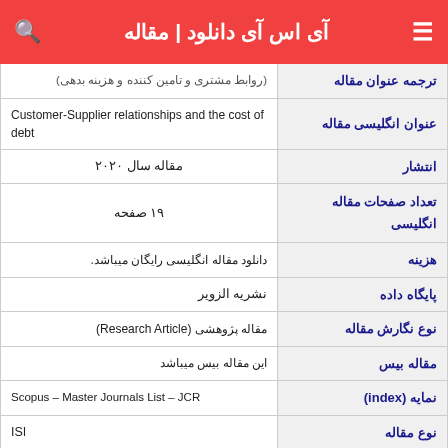آی اس آی دانلود | مقاله
| برچسب | مقدار |
| --- | --- |
| ترجمه عنوان مقاله | (روابط مشتری و تامین کننده و هزینه بدهی) |
| عنوان انگلیسی مقاله | Customer-Supplier relationships and the cost of debt |
| انتشار | مقاله سال ۲۰۲۰ |
| تعداد صفحات مقاله انگلیسی | ۱۹ صفحه |
| هزینه | دانلود مقاله انگلیسی رایگان میباشد. |
| پایگاه داده | نشریه الزویر |
| نوع نگارش مقاله | مقاله پژوهشی (Research Article) |
| مقاله بیس | این مقاله بیس میباشد |
| نمایه (index) | Scopus – Master Journals List – JCR |
| نوع مقاله | ISI |